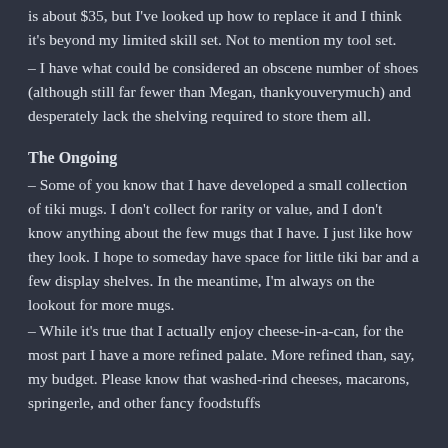is about $35, but I've looked up how to replace it and I think it's beyond my limited skill set. Not to mention my tool set.
– I have what could be considered an obscene number of shoes (although still far fewer than Megan, thankyouverymuch) and desperately lack the shelving required to store them all.
The Ongoing
– Some of you know that I have developed a small collection of tiki mugs. I don't collect for rarity or value, and I don't know anything about the few mugs that I have. I just like how they look. I hope to someday have space for little tiki bar and a few display shelves. In the meantime, I'm always on the lookout for more mugs.
– While it's true that I actually enjoy cheese-in-a-can, for the most part I have a more refined palate. More refined than, say, my budget. Please know that washed-rind cheeses, macarons, springerle, and other fancy foodstuffs